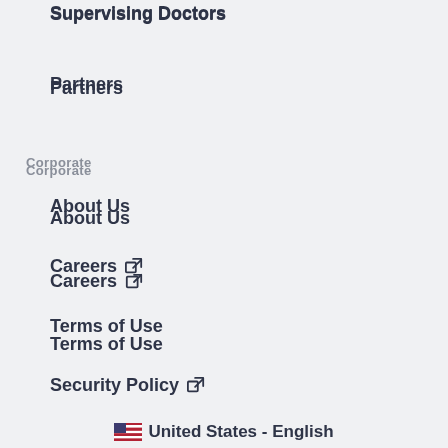Supervising Doctors
Partners
Corporate
About Us
Careers ↗
Terms of Use
Security Policy ↗
Privacy Policy
Contact Us
Company Website ↗
🇺🇸 United States - English